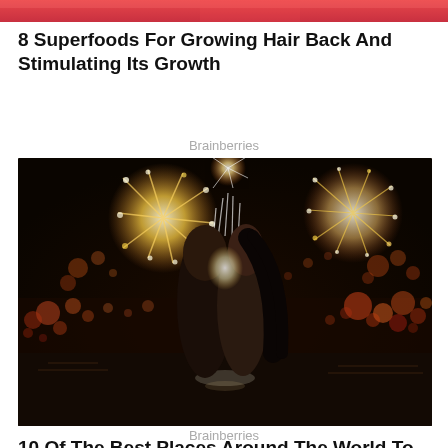[Figure (photo): Partial top image showing red/pink colors, cropped at top of page]
8 Superfoods For Growing Hair Back And Stimulating Its Growth
Brainberries
[Figure (photo): A couple nearly kissing in water with colorful fireworks exploding behind them in a night sky]
10 Of The Best Places Around The World To Go Stargazing
Brainberries